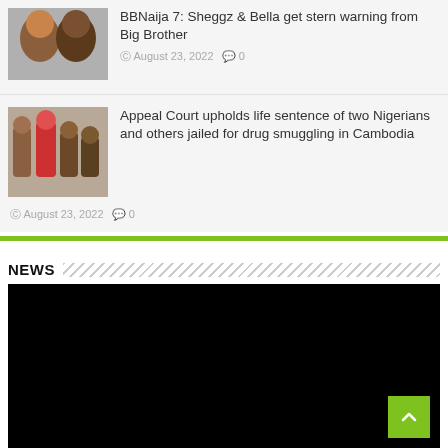[Figure (photo): Thumbnail photo of two people (man and woman) for BBNaija article]
BBNaija 7: Sheggz & Bella get stern warning from Big Brother
August 23, 2022   0
[Figure (photo): Thumbnail photo of group of people for drug smuggling article]
Appeal Court upholds life sentence of two Nigerians and others jailed for drug smuggling in Cambodia
August 23, 2022   0
NEWS
[Figure (photo): Large black image area (video or photo placeholder)]